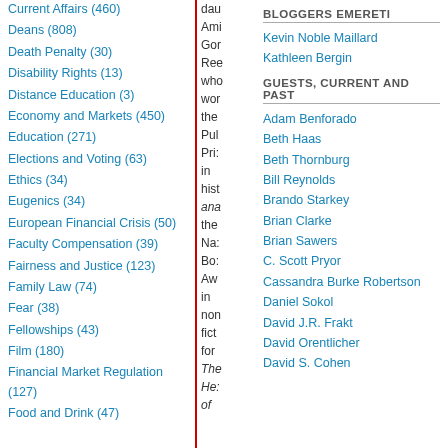Current Affairs (460)
Deans (808)
Death Penalty (30)
Disability Rights (13)
Distance Education (3)
Economy and Markets (450)
Education (271)
Elections and Voting (63)
Ethics (34)
Eugenics (34)
European Financial Crisis (50)
Faculty Compensation (39)
Fairness and Justice (123)
Family Law (74)
Fear (38)
Fellowships (43)
Film (180)
Financial Market Regulation (127)
Food and Drink (47)
dau Amu Gor Ree who wor the Pul Pri: in hist ana the Na: Bo: Aw in non fict for The Her of
BLOGGERS EMERETI
Kevin Noble Maillard
Kathleen Bergin
GUESTS, CURRENT AND PAST
Adam Benforado
Beth Haas
Beth Thornburg
Bill Reynolds
Brando Starkey
Brian Clarke
Brian Sawers
C. Scott Pryor
Cassandra Burke Robertson
Daniel Sokol
David J.R. Frakt
David Orentlicher
David S. Cohen